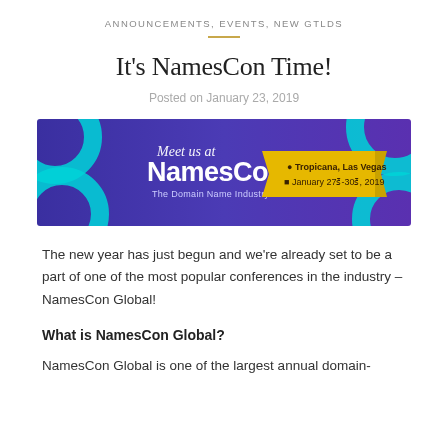ANNOUNCEMENTS, EVENTS, NEW GTLDS
It's NamesCon Time!
Posted on January 23, 2019
[Figure (illustration): NamesCon banner: 'Meet us at NamesCon – The Domain Name Industry Event', Tropicana, Las Vegas, January 27th–30th, 2019. Purple/blue background with cyan decorative shapes and a yellow ribbon badge.]
The new year has just begun and we're already set to be a part of one of the most popular conferences in the industry – NamesCon Global!
What is NamesCon Global?
NamesCon Global is one of the largest annual domain-